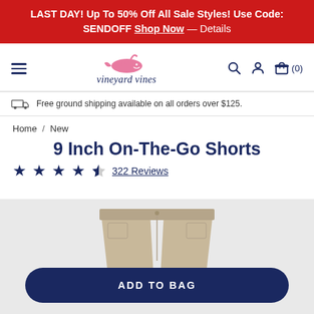LAST DAY! Up To 50% Off All Sale Styles! Use Code: SENDOFF Shop Now — Details
[Figure (logo): Vineyard Vines logo with pink whale and italic brand name, navigation bar with hamburger menu, search, account, and bag icons]
Free ground shipping available on all orders over $125.
Home / New
9 Inch On-The-Go Shorts
★★★★½  322 Reviews
[Figure (photo): Khaki/tan shorts product photo on light gray background]
ADD TO BAG